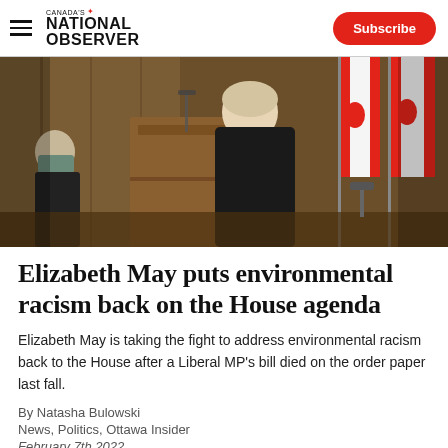Canada's National Observer — Subscribe
[Figure (photo): A woman in a black blazer stands at a wooden podium speaking. Canadian flags with red maple leaf are visible in the background. A masked person is visible on the left side.]
Elizabeth May puts environmental racism back on the House agenda
Elizabeth May is taking the fight to address environmental racism back to the House after a Liberal MP's bill died on the order paper last fall.
By Natasha Bulowski
News, Politics, Ottawa Insider
February 7th 2022